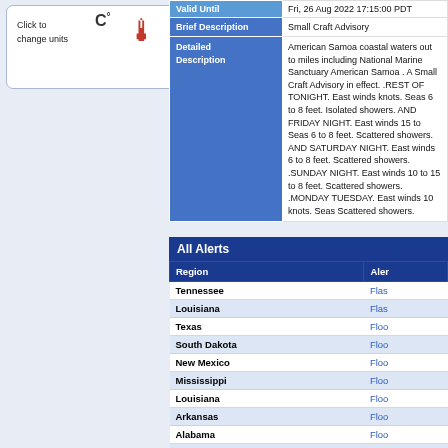Click to change units C° / F°
| Field | Value |
| --- | --- |
| Valid Until | Fri, 26 Aug 2022 17:15:00 PDT |
| Brief Description | Small Craft Advisory |
| Detailed Description | American Samoa coastal waters out to miles including National Marine Sanctuary American Samoa . A Small Craft Advisory in effect. .REST OF TONIGHT. East winds knots. Seas 6 to 8 feet. Isolated showers. AND FRIDAY NIGHT. East winds 15 to Seas 6 to 8 feet. Scattered showers. AND SATURDAY NIGHT. East winds 6 to 8 feet. Scattered showers. .SUNDAY NIGHT. East winds 10 to 15 to 8 feet. Scattered showers. .MONDAY TUESDAY. East winds 10 knots. Seas Scattered showers. |
All Alerts
| Region | Alert |
| --- | --- |
| Tennessee | Flash... |
| Louisiana | Flash... |
| Texas | Flood... |
| South Dakota | Flood... |
| New Mexico | Flood... |
| Mississippi | Flood... |
| Louisiana | Flood... |
| Arkansas | Flood... |
| Alabama | Flood... |
| Arizona | Flood... |
| Florida | Flood... |
| Tennessee | Una... |